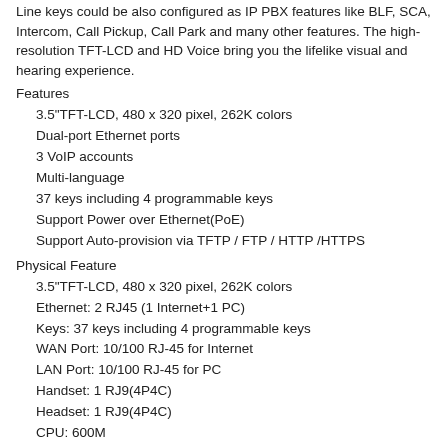Line keys could be also configured as IP PBX features like BLF, SCA, Intercom, Call Pickup, Call Park and many other features. The high-resolution TFT-LCD and HD Voice bring you the lifelike visual and hearing experience.
Features
3.5"TFT-LCD, 480 x 320 pixel, 262K colors
Dual-port Ethernet ports
3 VoIP accounts
Multi-language
37 keys including 4 programmable keys
Support Power over Ethernet(PoE)
Support Auto-provision via TFTP / FTP / HTTP /HTTPS
Physical Feature
3.5"TFT-LCD, 480 x 320 pixel, 262K colors
Ethernet: 2 RJ45 (1 Internet+1 PC)
Keys: 37 keys including 4 programmable keys
WAN Port: 10/100 RJ-45 for Internet
LAN Port: 10/100 RJ-45 for PC
Handset: 1 RJ9(4P4C)
Headset: 1 RJ9(4P4C)
CPU: 600M
Adapter output: 5V/1.2A
Adapter input:100-240V
Power consumption: standby - 2.2W / working - 2.4W